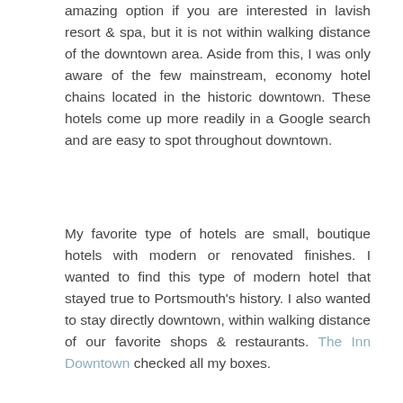amazing option if you are interested in lavish resort & spa, but it is not within walking distance of the downtown area. Aside from this, I was only aware of the few mainstream, economy hotel chains located in the historic downtown. These hotels come up more readily in a Google search and are easy to spot throughout downtown.
My favorite type of hotels are small, boutique hotels with modern or renovated finishes. I wanted to find this type of modern hotel that stayed true to Portsmouth's history. I also wanted to stay directly downtown, within walking distance of our favorite shops & restaurants. The Inn Downtown checked all my boxes.